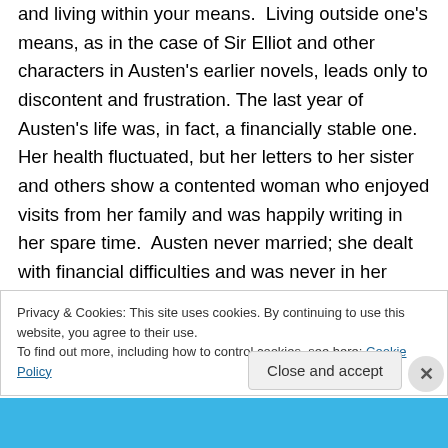and living within your means. Living outside one's means, as in the case of Sir Elliot and other characters in Austen's earlier novels, leads only to discontent and frustration. The last year of Austen's life was, in fact, a financially stable one. Her health fluctuated, but her letters to her sister and others show a contented woman who enjoyed visits from her family and was happily writing in her spare time. Austen never married; she dealt with financial difficulties and was never in her lifetime very wealthy in the monetary sense. Yet her own cheerfulness of nature was
Privacy & Cookies: This site uses cookies. By continuing to use this website, you agree to their use. To find out more, including how to control cookies, see here: Cookie Policy
Close and accept